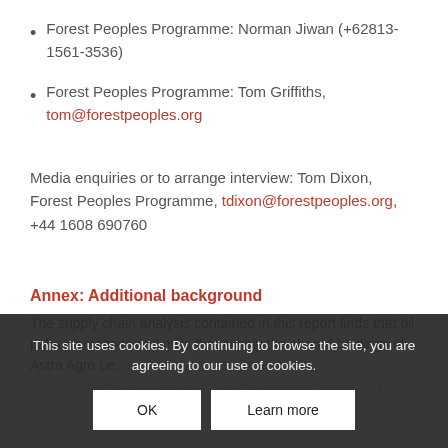Forest Peoples Programme: Norman Jiwan (+62813-1561-3536)
Forest Peoples Programme: Tom Griffiths, tom@forestpeoples.org
Media enquiries or to arrange interview: Tom Dixon, Forest Peoples Programme, tdixon@forestpeoples.org, +44 1608 690760
Annex: Additional background
The supply chain analysis contained in this report finds that oil palm plantations and mills that supply the shared holdings of Astra Agro Lestari and Minamas (Sime Darby) Agri Resources-Sinar Mas, and Wilmar (Indofood) groups are
This site uses cookies. By continuing to browse the site, you are agreeing to our use of cookies.